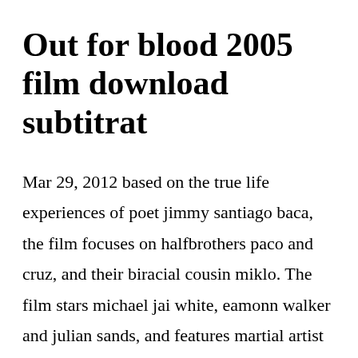Out for blood 2005 film download subtitrat
Mar 29, 2012 based on the true life experiences of poet jimmy santiago baca, the film focuses on halfbrothers paco and cruz, and their biracial cousin miklo. The film stars michael jai white, eamonn walker and julian sands, and features martial artist matt mullins and mma fighters bob sapp, kimbo slice,